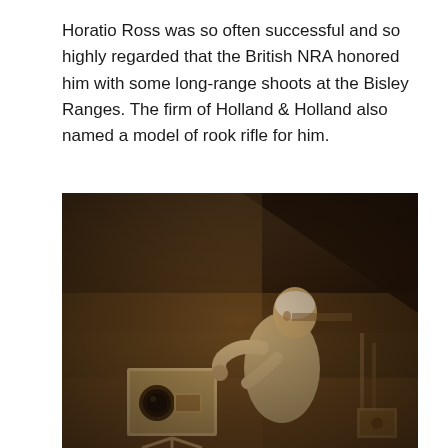Horatio Ross was so often successful and so highly regarded that the British NRA honored him with some long-range shoots at the Bisley Ranges. The firm of Holland & Holland also named a model of rook rifle for him.
[Figure (photo): Sepia-toned vintage photograph of an elderly man, likely Horatio Ross, leaning over a large camera or optical instrument mounted on a tripod. He appears to be looking through or adjusting the device. The setting is an indoor studio or workshop with dim lighting and dark background. Various equipment is visible in the background.]